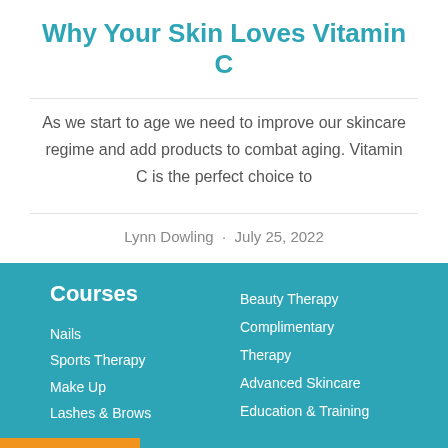Why Your Skin Loves Vitamin C
As we start to age we need to improve our skincare regime and add products to combat aging. Vitamin C is the perfect choice to
Lynn Dowling · July 25, 2022
Courses
Nails
Sports Therapy
Make Up
Lashes & Brows
Beauty Therapy
Complimentary Therapy
Advanced Skincare
Education & Training
Translate »